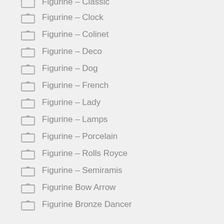Figurine – Classic
Figurine – Clock
Figurine – Colinet
Figurine – Deco
Figurine – Dog
Figurine – French
Figurine – Lady
Figurine – Lamps
Figurine – Porcelain
Figurine – Rolls Royce
Figurine – Semiramis
Figurine Bow Arrow
Figurine Bronze Dancer